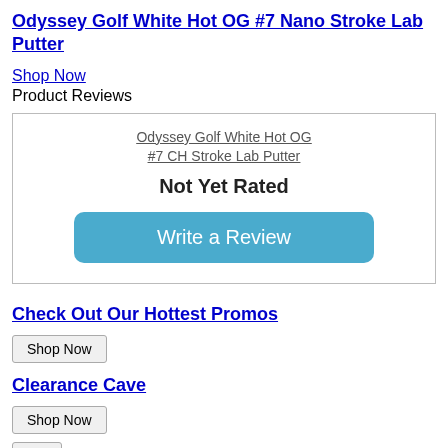Odyssey Golf White Hot OG #7 Nano Stroke Lab Putter
Shop Now
Product Reviews
[Figure (screenshot): Product review box containing a link to 'Odyssey Golf White Hot OG #7 CH Stroke Lab Putter', text 'Not Yet Rated', and a blue 'Write a Review' button]
Check Out Our Hottest Promos
Shop Now
Clearance Cave
Shop Now
OK